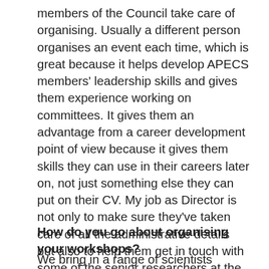members of the Council take care of organising. Usually a different person organises an event each time, which is great because it helps develop APECS members' leadership skills and gives them experience working on committees. It gives them an advantage from a career development point of view because it gives them skills they can use in their careers later on, not just something else they can put on their CV. My job as Director is not only to make sure they've taken care of all the administrative details but also to help them get in touch with some of the senior researchers at the event and help them start forming professional relationships. So I act as the link to connect people for these events, do fundraising, motivate young researchers, get the word out about APECS, and do what needs to be done to help our members.
How do you go about organising your workshops?
We bring in a range of scientists...